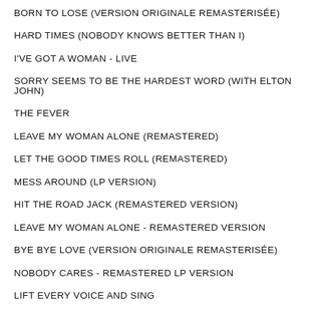BORN TO LOSE (VERSION ORIGINALE REMASTERISÉE)
HARD TIMES (NOBODY KNOWS BETTER THAN I)
I'VE GOT A WOMAN - LIVE
SORRY SEEMS TO BE THE HARDEST WORD (WITH ELTON JOHN)
THE FEVER
LEAVE MY WOMAN ALONE (REMASTERED)
LET THE GOOD TIMES ROLL (REMASTERED)
MESS AROUND (LP VERSION)
HIT THE ROAD JACK (REMASTERED VERSION)
LEAVE MY WOMAN ALONE - REMASTERED VERSION
BYE BYE LOVE (VERSION ORIGINALE REMASTERISÉE)
NOBODY CARES - REMASTERED LP VERSION
LIFT EVERY VOICE AND SING
(SOMEWHERE) OVER THE RAINBOW
DO I EVER CROSS YOUR MIND? (WITH BONNIE RAITT)
DROWN IN MY OWN TEARS (REMASTERED)
DON'T TELL ME YOUR TROUBLES